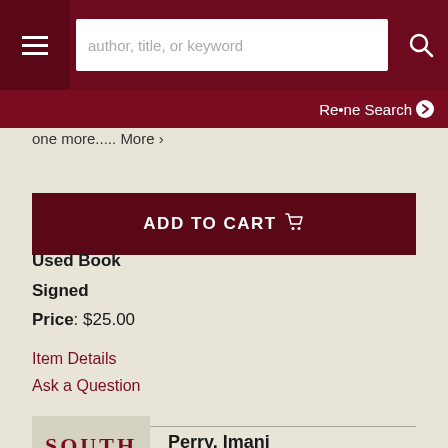author, title, or keyword [search bar] | Refine Search
one more..... More >
ADD TO CART
Used Book
Signed
Price: $25.00
Item Details
Ask a Question
Perry, Imani